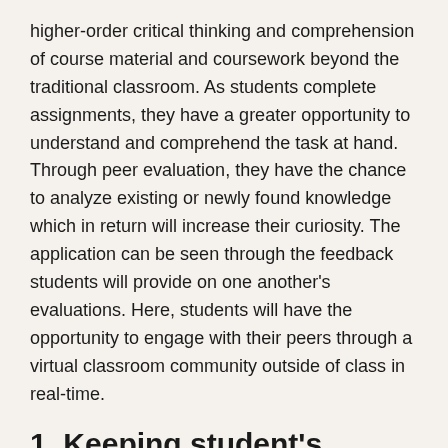higher-order critical thinking and comprehension of course material and coursework beyond the traditional classroom. As students complete assignments, they have a greater opportunity to understand and comprehend the task at hand. Through peer evaluation, they have the chance to analyze existing or newly found knowledge which in return will increase their curiosity. The application can be seen through the feedback students will provide on one another's evaluations. Here, students will have the opportunity to engage with their peers through a virtual classroom community outside of class in real-time.
1. Keeping student's prepared before entering the classroom
The concept of the Flipped Classroom Model (FCM) is